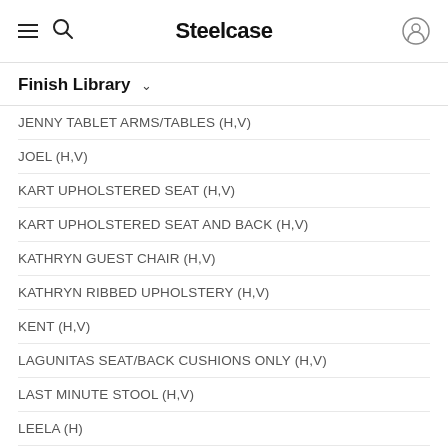Steelcase
Finish Library
JENNY TABLET ARMS/TABLES (H,V)
JOEL (H,V)
KART UPHOLSTERED SEAT (H,V)
KART UPHOLSTERED SEAT AND BACK (H,V)
KATHRYN GUEST CHAIR (H,V)
KATHRYN RIBBED UPHOLSTERY (H,V)
KENT (H,V)
LAGUNITAS SEAT/BACK CUSHIONS ONLY (H,V)
LAST MINUTE STOOL (H,V)
LEELA (H)
LOX (SEAT & BACK) (H,V)
LOX (SEAT) (H,V)
MALIBU (H)
MARIEN152 CONFERENCE (H,V)
MARIEN152 GUEST (H,V)
MARIEN152 LOUNGE (H,V)